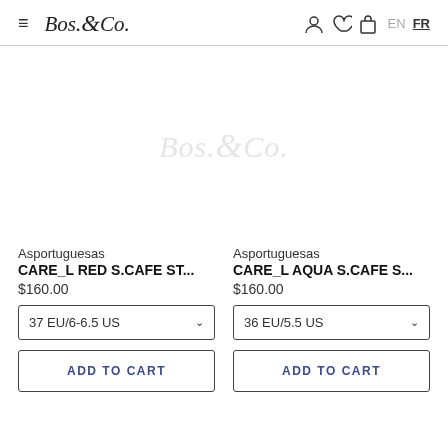≡  Bos.&Co.   EN FR
[Figure (logo): Bos.&Co. watermark logo centered in product image area]
Asportuguesas
CARE_L RED S.CAFE ST...
$160.00
37 EU/6-6.5 US
ADD TO CART
Asportuguesas
CARE_L AQUA S.CAFE S...
$160.00
36 EU/5.5 US
ADD TO CART